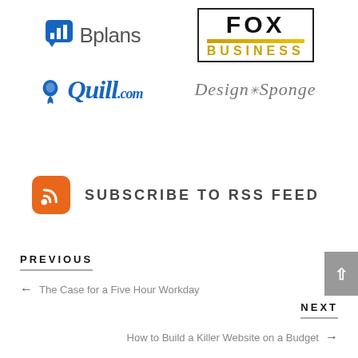[Figure (logo): Bplans logo with bar chart icon and text 'Bplans']
[Figure (logo): Fox Business logo]
[Figure (logo): Quill.com logo in blue italic]
[Figure (logo): Design Sponge logo in cursive italic]
[Figure (logo): RSS icon with 'SUBSCRIBE TO RSS FEED' text]
PREVIOUS
← The Case for a Five Hour Workday
NEXT
How to Build a Killer Website on a Budget →